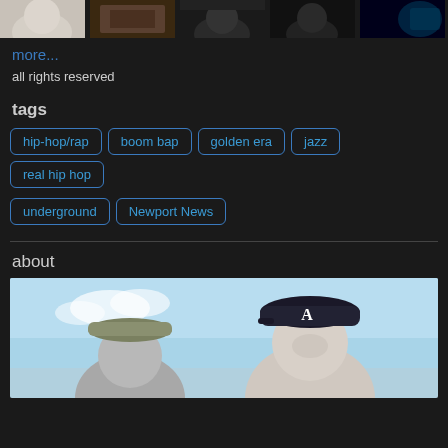[Figure (photo): Row of five thumbnail photos of people/scenes]
more...
all rights reserved
tags
hip-hop/rap
boom bap
golden era
jazz
real hip hop
underground
Newport News
about
[Figure (photo): Black and white photo with light blue sky background showing two people wearing baseball caps; right person wears a cap with letter A]